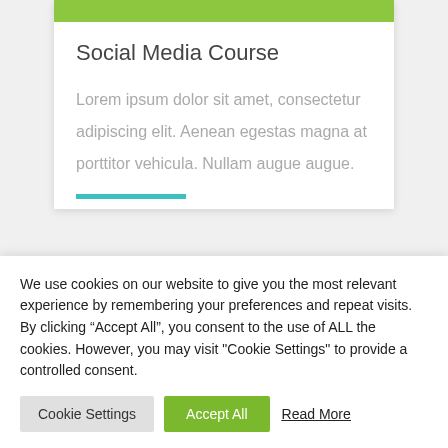Social Media Course
Lorem ipsum dolor sit amet, consectetur adipiscing elit. Aenean egestas magna at porttitor vehicula. Nullam augue augue.
We use cookies on our website to give you the most relevant experience by remembering your preferences and repeat visits. By clicking “Accept All”, you consent to the use of ALL the cookies. However, you may visit "Cookie Settings" to provide a controlled consent.
Cookie Settings | Accept All | Read More